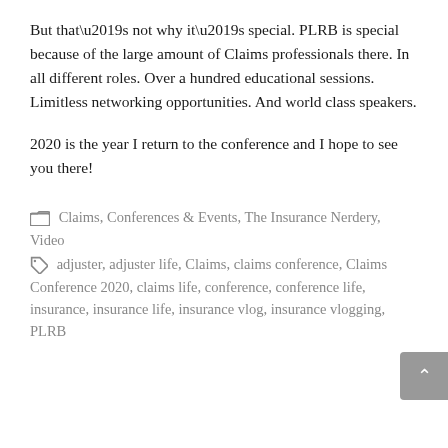But that’s not why it’s special.  PLRB is special because of the large amount of Claims professionals there.  In all different roles.  Over a hundred educational sessions.  Limitless networking opportunities. And world class speakers.
2020 is the year I return to the conference and I hope to see you there!
Claims, Conferences & Events, The Insurance Nerdery, Video
adjuster, adjuster life, Claims, claims conference, Claims Conference 2020, claims life, conference, conference life, insurance, insurance life, insurance vlog, insurance vlogging, PLRB